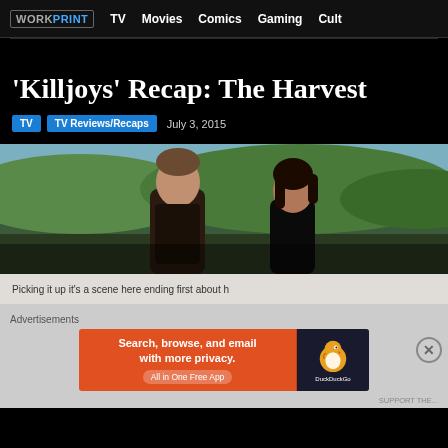WORKPRINT | TV | Movies | Comics | Gaming | Cult
'Killjoys' Recap: The Harvest
TV  TV Reviews/Recaps  July 3, 2015
[Figure (photo): Two people (a man and a woman) facing each other outdoors with green hills in the background, a scene from the TV show Killjoys]
Picking it up it's a scene here ending first about h
Advertisements
[Figure (screenshot): DuckDuckGo advertisement banner: Search, browse, and email with more privacy. All in One Free App. DuckDuckGo logo on dark background.]